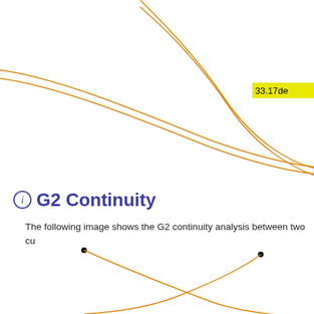[Figure (engineering-diagram): G1 continuity analysis showing two orange curves sweeping across the top portion of the image with a yellow tooltip label showing '33.17de' (degrees) at the right side]
G2 Continuity
The following image shows the G2 continuity analysis between two cu
[Figure (engineering-diagram): G2 continuity diagram showing two orange Bezier curves with black control points, curves sweeping downward from upper left and upper right meeting at bottom center]